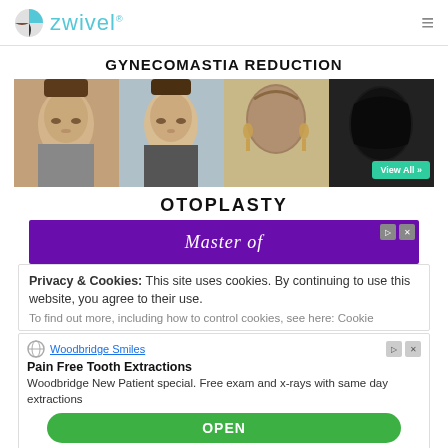zwivel
GYNECOMASTIA REDUCTION
[Figure (photo): Four medical before/after photos: two frontal face views of a male patient and two rear head views of a female patient. A 'View All »' button overlays the last photo.]
OTOPLASTY
[Figure (screenshot): Purple advertisement banner partially showing 'Master of' text in italic white serif font, with close and skip ad controls in top right.]
Privacy & Cookies: This site uses cookies. By continuing to use this website, you agree to their use.
To find out more, including how to control cookies, see here: Cookie
[Figure (screenshot): Bottom advertisement from Woodbridge Smiles: 'Pain Free Tooth Extractions. Woodbridge New Patient special. Free exam and x-rays with same day extractions' with green OPEN button.]